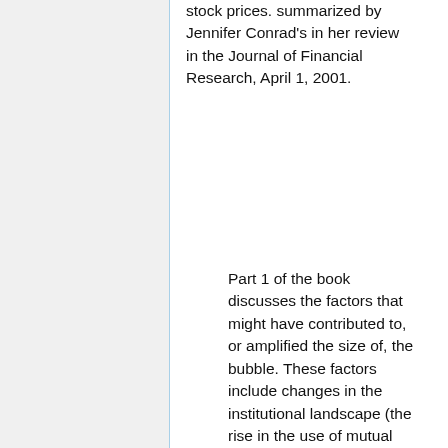stock prices. summarized by Jennifer Conrad's in her review in the Journal of Financial Research, April 1, 2001.
Part 1 of the book discusses the factors that might have contributed to, or amplified the size of, the bubble. These factors include changes in the institutional landscape (the rise in the use of mutual